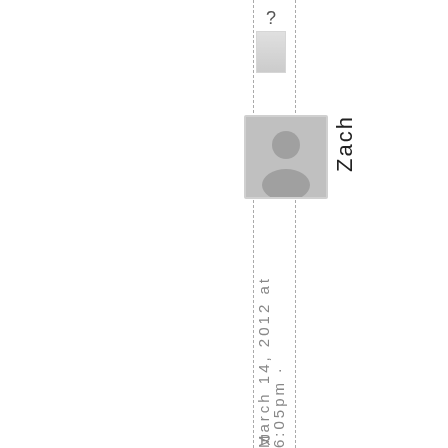[Figure (illustration): Question mark icon with a small box/document shape below it, at the top of the page]
[Figure (photo): Gray placeholder avatar silhouette (person icon) in a square frame]
Zach
March 14, 2012 at 6:05pm
R